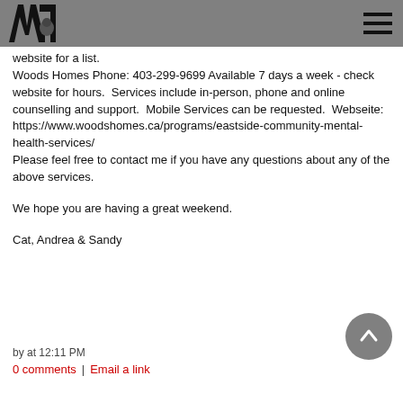[Figure (logo): JAM logo in top left navigation bar]
website for a list.
Woods Homes Phone: 403-299-9699 Available 7 days a week - check website for hours.  Services include in-person, phone and online counselling and support.  Mobile Services can be requested.  Webseite: https://www.woodshomes.ca/programs/eastside-community-mental-health-services/
Please feel free to contact me if you have any questions about any of the above services.

We hope you are having a great weekend.

Cat, Andrea & Sandy
by at 12:11 PM
0 comments  |  Email a link